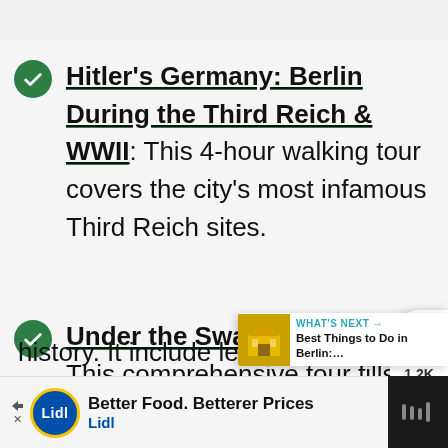Hitler's Germany: Berlin During the Third Reich & WWII: This 4-hour walking tour covers the city's most infamous Third Reich sites.
Under the Swastika Tour: This comprehensive tour fills in every aspect of the city's World War history. It include lesser-known
[Figure (screenshot): Social action bar with heart icon (1.2K), and share icon on the right side]
[Figure (infographic): What's Next panel showing a thumbnail image of a building and text: Best Things to Do in Berlin:...]
[Figure (screenshot): Advertisement banner for Lidl: Better Food. Betterer Prices with Lidl logo and navigation icon]